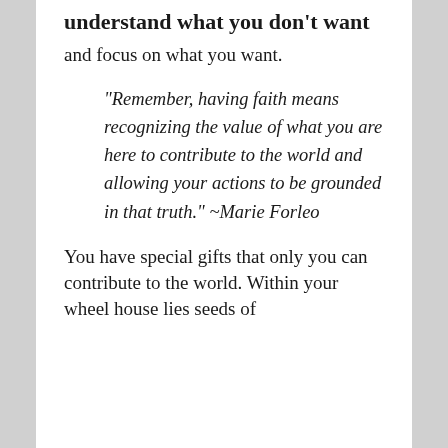understand what you don't want
and focus on what you want.
“Remember, having faith means recognizing the value of what you are here to contribute to the world and allowing your actions to be grounded in that truth.”  ~Marie Forleo
You have special gifts that only you can contribute to the world.  Within your wheel house lies seeds of